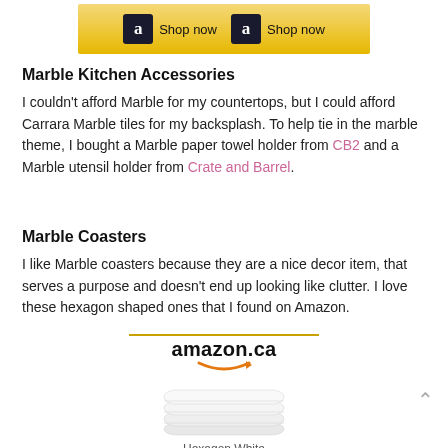[Figure (other): Amazon 'Shop now' banner with two buttons on gold background]
Marble Kitchen Accessories
I couldn't afford Marble for my countertops, but I could afford Carrara Marble tiles for my backsplash. To help tie in the marble theme, I bought a Marble paper towel holder from CB2 and a Marble utensil holder from Crate and Barrel.
Marble Coasters
I like Marble coasters because they are a nice decor item, that serves a purpose and doesn't end up looking like clutter. I love these hexagon shaped ones that I found on Amazon.
[Figure (logo): Amazon.ca logo with orange smile underline]
[Figure (photo): Stack of hexagon white marble coasters product image]
Hexagon White